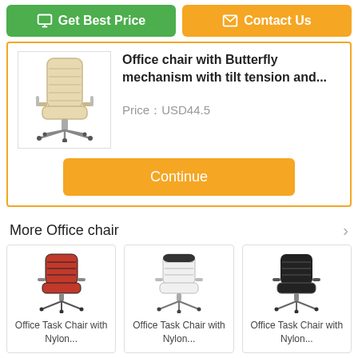[Figure (screenshot): Get Best Price button (green) and Contact Us button (orange) at top]
[Figure (photo): Beige/cream high-back office chair with chrome base and armrests]
Office chair with Butterfly mechanism with tilt tension and...
Price£USD44.5
Continue
More  Office chair
[Figure (photo): Red and black racing-style office task chair with nylon base]
Office Task Chair with Nylon...
[Figure (photo): White and black racing-style office task chair with nylon base]
Office Task Chair with Nylon...
[Figure (photo): Black racing-style office task chair with nylon base]
Office Task Chair with Nylon...
Chat Now
Request A Quote